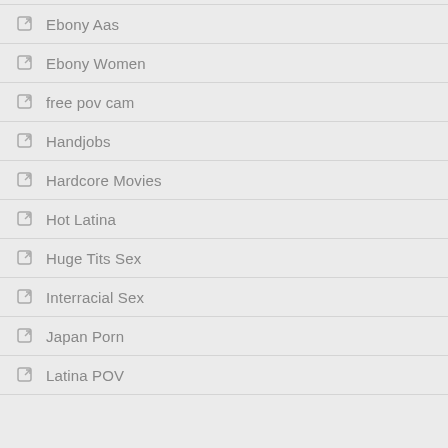Ebony Aas
Ebony Women
free pov cam
Handjobs
Hardcore Movies
Hot Latina
Huge Tits Sex
Interracial Sex
Japan Porn
Latina POV